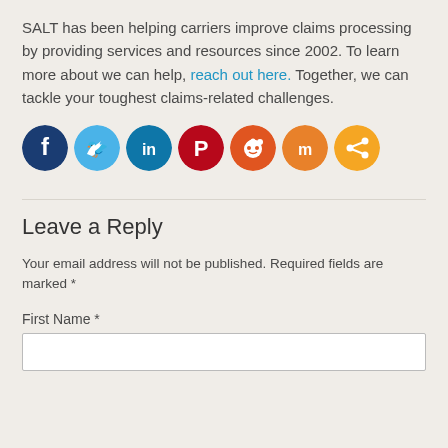SALT has been helping carriers improve claims processing by providing services and resources since 2002. To learn more about we can help, reach out here. Together, we can tackle your toughest claims-related challenges.
[Figure (infographic): Row of 7 social media share icons: Facebook (dark blue), Twitter (light blue), LinkedIn (dark blue), Pinterest (red), Reddit (orange-red), Mix (orange), Share (orange)]
Leave a Reply
Your email address will not be published. Required fields are marked *
First Name *
[text input field]